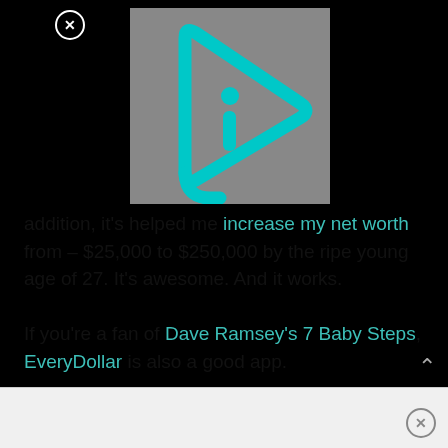[Figure (screenshot): Video thumbnail with gray background and cyan play-button-style logo featuring letter 'i' inside a triangular arrow shape]
addition, it's helped me increase my net worth from – $25,000 to $250,000 by the ripe young age of 27. It's awesome. And it works.

If you're a fan of Dave Ramsey's 7 Baby Steps, EveryDollar is also a good app.